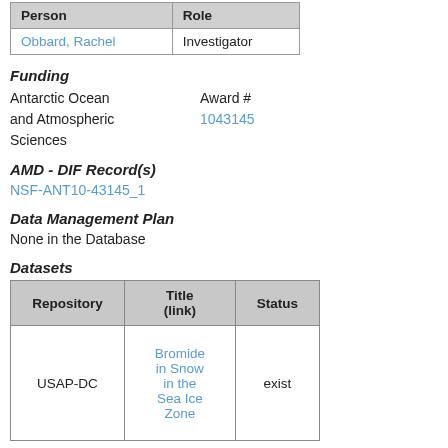| Person | Role |
| --- | --- |
| Obbard, Rachel | Investigator |
Funding
Antarctic Ocean and Atmospheric Sciences    Award #  1043145
AMD - DIF Record(s)
NSF-ANT10-43145_1
Data Management Plan
None in the Database
Datasets
| Repository | Title (link) | Status |
| --- | --- | --- |
| USAP-DC | Bromide in Snow in the Sea Ice Zone | exist |